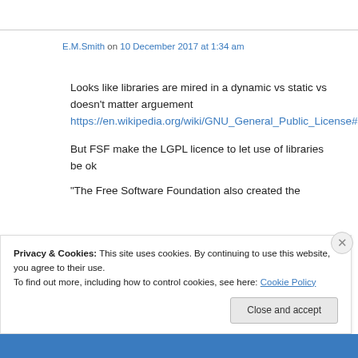E.M.Smith on 10 December 2017 at 1:34 am
Looks like libraries are mired in a dynamic vs static vs doesn't matter arguement https://en.wikipedia.org/wiki/GNU_General_Public_License#Libraries
But FSF make the LGPL licence to let use of libraries be ok
“The Free Software Foundation also created the
Privacy & Cookies: This site uses cookies. By continuing to use this website, you agree to their use.
To find out more, including how to control cookies, see here: Cookie Policy